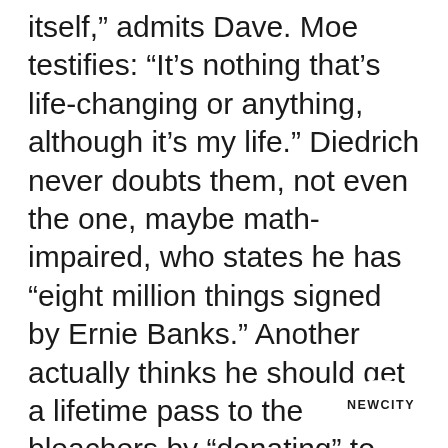itself," admits Dave. Moe testifies: "It's nothing that's life-changing or anything, although it's my life." Diedrich never doubts them, not even the one, maybe math-impaired, who states he has "eight million things signed by Ernie Banks." Another actually thinks he should get a lifetime pass to the bleachers by "donating" to their original owner 4,000 baseballs he caught: "I earned it, you know, with the things I've done at the park over the years." Mike Leonard, an NBC Today Show feature correspondent, argues: "Anything with passion is heroic." Batting practice or grand slam, an out-of-the-park Major League Baseball ball is like life “Catch something. Hold on to something. And